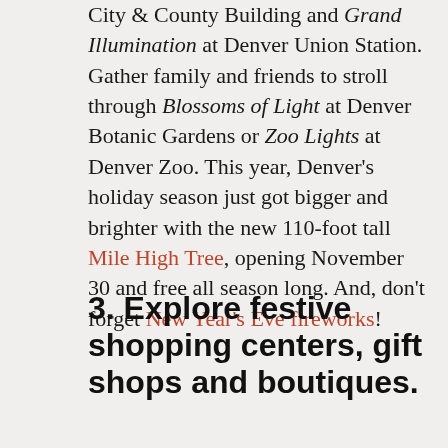City & County Building and Grand Illumination at Denver Union Station. Gather family and friends to stroll through Blossoms of Light at Denver Botanic Gardens or Zoo Lights at Denver Zoo. This year, Denver's holiday season just got bigger and brighter with the new 110-foot tall Mile High Tree, opening November 30 and free all season long. And, don't forget New Year's Eve fireworks!
3. Explore festive shopping centers, gift shops and boutiques.